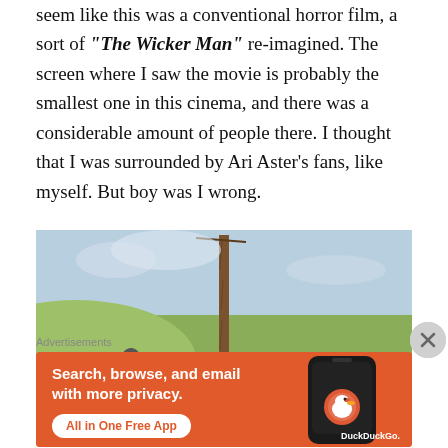seem like this was a conventional horror film, a sort of "The Wicker Man" re-imagined. The screen where I saw the movie is probably the smallest one in this cinema, and there was a considerable amount of people there. I thought that I was surrounded by Ari Aster's fans, like myself. But boy was I wrong.
[Figure (photo): A film still showing a tall wooden pole/post in an open field under a cloudy sky, with people visible in the background.]
Advertisements
[Figure (illustration): DuckDuckGo advertisement banner on orange background. Text: 'Search, browse, and email with more privacy. All in One Free App'. Shows a phone graphic with DuckDuckGo logo and branding.]